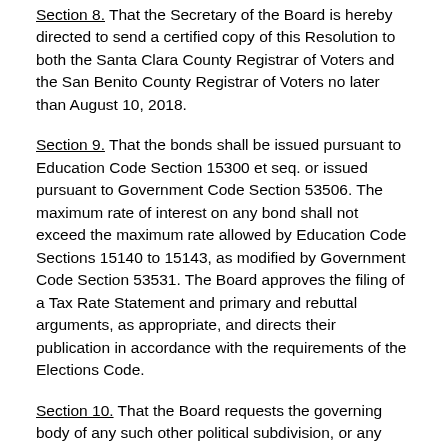Section 8. That the Secretary of the Board is hereby directed to send a certified copy of this Resolution to both the Santa Clara County Registrar of Voters and the San Benito County Registrar of Voters no later than August 10, 2018.
Section 9. That the bonds shall be issued pursuant to Education Code Section 15300 et seq. or issued pursuant to Government Code Section 53506. The maximum rate of interest on any bond shall not exceed the maximum rate allowed by Education Code Sections 15140 to 15143, as modified by Government Code Section 53531. The Board approves the filing of a Tax Rate Statement and primary and rebuttal arguments, as appropriate, and directs their publication in accordance with the requirements of the Elections Code.
Section 10. That the Board requests the governing body of any such other political subdivision, or any officer otherwise authorized by law, to partially or completely consolidate such election and to further provide that the canvass be made by any body or official authorized by law to canvass the returns of the election, and that the Board